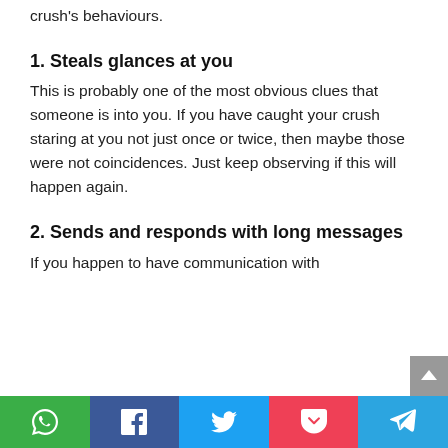crush's behaviours.
1. Steals glances at you
This is probably one of the most obvious clues that someone is into you. If you have caught your crush staring at you not just once or twice, then maybe those were not coincidences. Just keep observing if this will happen again.
2. Sends and responds with long messages
If you happen to have communication with